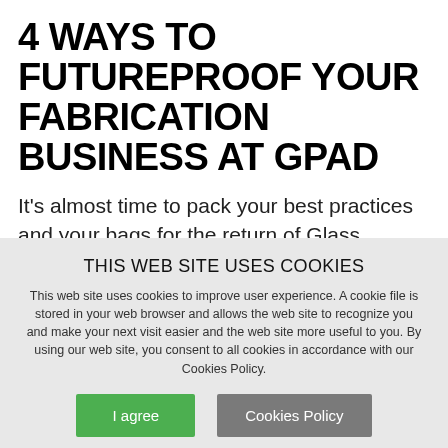4 WAYS TO FUTUREPROOF YOUR FABRICATION BUSINESS AT GPAD
It's almost time to pack your best practices and your bags for the return of Glass Processing Automation Days, or GPAD, set to
THIS WEB SITE USES COOKIES
This web site uses cookies to improve user experience. A cookie file is stored in your web browser and allows the web site to recognize you and make your next visit easier and the web site more useful to you. By using our web site, you consent to all cookies in accordance with our Cookies Policy.
I agree
Cookies Policy